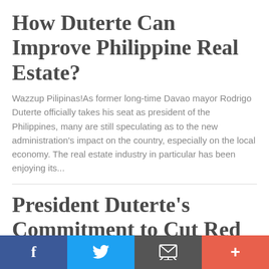How Duterte Can Improve Philippine Real Estate?
Wazzup Pilipinas!As former long-time Davao mayor Rodrigo Duterte officially takes his seat as president of the Philippines, many are still speculating as to the new administration's impact on the country, especially on the local economy. The real estate industry in particular has been enjoying its...
President Duterte's Commitment to Cut Red Tape
Wazzup Pilipinas!Leading telco provider Globe Telecom welcomed President Duterte's commitment to improve
f  Twitter  Email  +